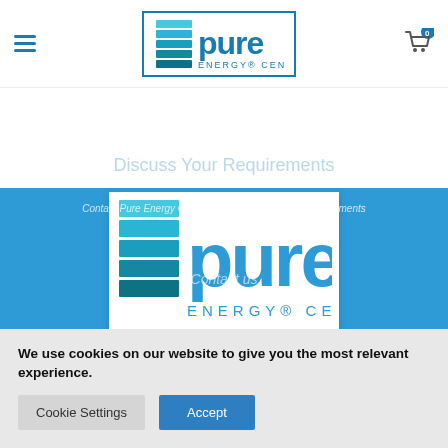[Figure (logo): Pure Energy Centre logo in navigation bar with border]
Discuss Your Requirements
Contact Pure Energy Centre today to discuss your requirements
[Figure (logo): Large Pure Energy Centre logo displayed in blue section]
Contact us
We use cookies on our website to give you the most relevant experience.
Cookie Settings  Accept